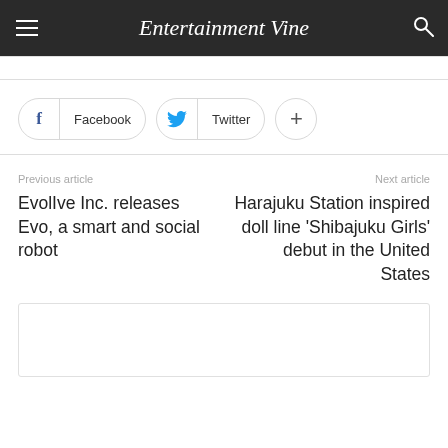Entertainment Vine
Facebook | Twitter | +
Previous article
EvolIve Inc. releases Evo, a smart and social robot
Next article
Harajuku Station inspired doll line 'Shibajuku Girls' debut in the United States